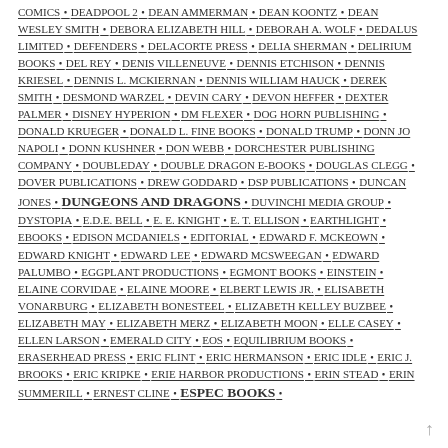COMICS • DEADPOOL 2 • DEAN AMMERMAN • DEAN KOONTZ • DEAN WESLEY SMITH • DEBORA ELIZABETH HILL • DEBORAH A. WOLF • DEDALUS LIMITED • DEFENDERS • DELACORTE PRESS • DELIA SHERMAN • DELIRIUM BOOKS • DEL REY • DENIS VILLENEUVE • DENNIS ETCHISON • DENNIS KRIESEL • DENNIS L. MCKIERNAN • DENNIS WILLIAM HAUCK • DEREK SMITH • DESMOND WARZEL • DEVIN CARY • DEVON HEFFER • DEXTER PALMER • DISNEY HYPERION • DM FLEXER • DOG HORN PUBLISHING • DONALD KRUEGER • DONALD L. FINE BOOKS • DONALD TRUMP • DONN JO NAPOLI • DONN KUSHNER • DON WEBB • DORCHESTER PUBLISHING COMPANY • DOUBLEDAY • DOUBLE DRAGON E-BOOKS • DOUGLAS CLEGG • DOVER PUBLICATIONS • DREW GODDARD • DSP PUBLICATIONS • DUNCAN JONES • DUNGEONS AND DRAGONS • DUVINCHI MEDIA GROUP • DYSTOPIA • E.D.E. BELL • E. E. KNIGHT • E. T. ELLISON • EARTHLIGHT • EBOOKS • EDISON MCDANIELS • EDITORIAL • EDWARD F. MCKEOWN • EDWARD KNIGHT • EDWARD LEE • EDWARD MCSWEEGAN • EDWARD PALUMBO • EGGPLANT PRODUCTIONS • EGMONT BOOKS • EINSTEIN • ELAINE CORVIDAE • ELAINE MOORE • ELBERT LEWIS JR. • ELISABETH VONARBURG • ELIZABETH BONESTEEL • ELIZABETH KELLEY BUZBEE • ELIZABETH MAY • ELIZABETH MERZ • ELIZABETH MOON • ELLE CASEY • ELLEN LARSON • EMERALD CITY • EOS • EQUILIBRIUM BOOKS • ERASERHEAD PRESS • ERIC FLINT • ERIC HERMANSON • ERIC IDLE • ERIC J. BROOKS • ERIC KRIPKE • ERIE HARBOR PRODUCTIONS • ERIN STEAD • ERIN SUMMERILL • ERNEST CLINE • ESPEC BOOKS •